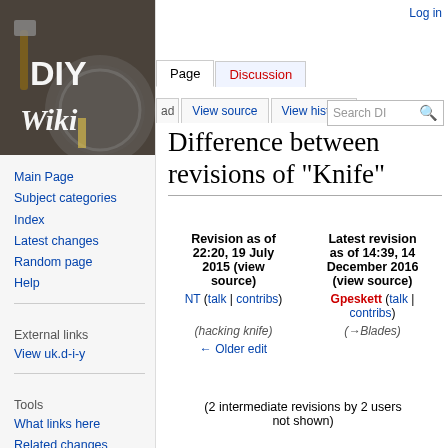[Figure (logo): DIY Wiki logo with tools background, saw blade, hammer, and white text 'DIY Wiki']
Main Page
Subject categories
Index
Latest changes
Random page
Help
External links
View uk.d-i-y
Tools
What links here
Related changes
Special pages
Log in
Difference between revisions of "Knife"
| Revision as of 22:20, 19 July 2015 (view source) | Latest revision as of 14:39, 14 December 2016 (view source) |
| --- | --- |
| NT (talk | contribs) | Gpeskett (talk | contribs) |
| (hacking knife) | (→Blades) |
| ← Older edit |  |
(2 intermediate revisions by 2 users not shown)